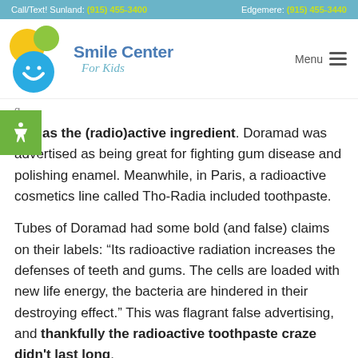Call/Text! Sunland: (915) 455-3400   Edgemere: (915) 455-3440
[Figure (logo): Smile Center For Kids logo with colorful circles (yellow, green, blue) and text]
ium as the (radio)active ingredient. Doramad was advertised as being great for fighting gum disease and polishing enamel. Meanwhile, in Paris, a radioactive cosmetics line called Tho-Radia included toothpaste.
Tubes of Doramad had some bold (and false) claims on their labels: “Its radioactive radiation increases the defenses of teeth and gums. The cells are loaded with new life energy, the bacteria are hindered in their destroying effect.” This was flagrant false advertising, and thankfully the radioactive toothpaste craze didn't last long.